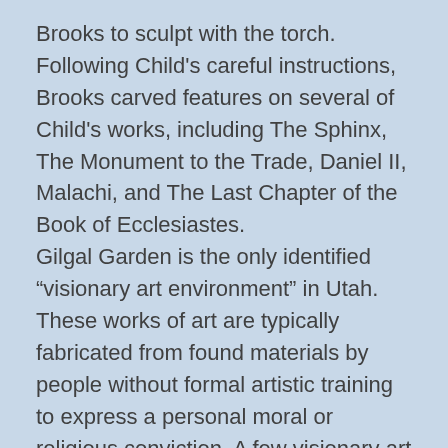Brooks to sculpt with the torch. Following Child's careful instructions, Brooks carved features on several of Child's works, including The Sphinx, The Monument to the Trade, Daniel II, Malachi, and The Last Chapter of the Book of Ecclesiastes.
Gilgal Garden is the only identified “visionary art environment” in Utah. These works of art are typically fabricated from found materials by people without formal artistic training to express a personal moral or religious conviction. A few visionary art environments, like Watts Towers in Los Angeles and the Orange Show in Houston, have gained acclaim. Most are little known and many are in danger of being destroyed.